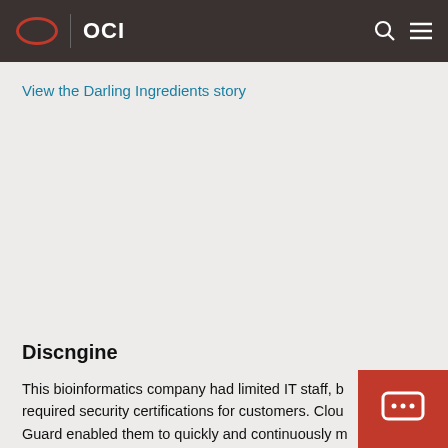OCI
View the Darling Ingredients story
Discngine
This bioinformatics company had limited IT staff, but required security certifications for customers. Cloud Guard enabled them to quickly and continuously m...